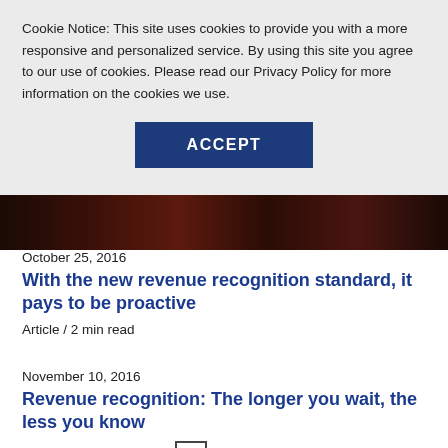Cookie Notice: This site uses cookies to provide you with a more responsive and personalized service. By using this site you agree to our use of cookies. Please read our Privacy Policy for more information on the cookies we use.
ACCEPT
[Figure (photo): Dark brown/black banner image, likely a photo of a person or event in very low lighting]
October 25, 2016
With the new revenue recognition standard, it pays to be proactive
Article / 2 min read
November 10, 2016
Revenue recognition: The longer you wait, the less you know
Webinar / 76 min watch